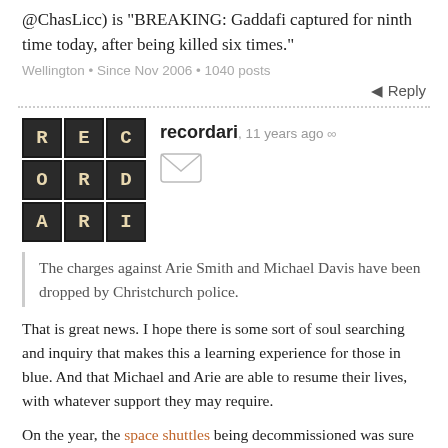@ChasLicc) is "BREAKING: Gaddafi captured for ninth time today, after being killed six times."
Wellington • Since Nov 2006 • 1040 posts
Reply
recordari, 11 years ago ∞
The charges against Arie Smith and Michael Davis have been dropped by Christchurch police.
That is great news. I hope there is some sort of soul searching and inquiry that makes this a learning experience for those in blue. And that Michael and Arie are able to resume their lives, with whatever support they may require.
On the year, the space shuttles being decommissioned was sure an end to something big. I liked Shatner's Discovery farewell.
And, lest we forget, a New Zealand SAS soldier lost his life in defence of something I still don't fully